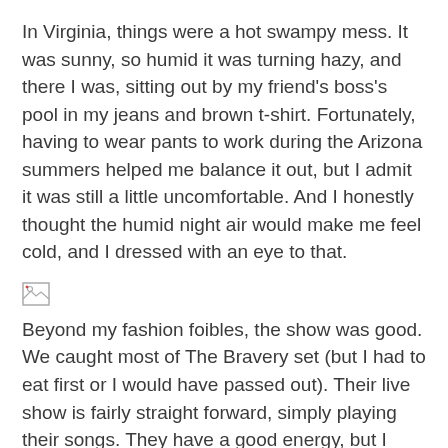In Virginia, things were a hot swampy mess. It was sunny, so humid it was turning hazy, and there I was, sitting out by my friend's boss's pool in my jeans and brown t-shirt. Fortunately, having to wear pants to work during the Arizona summers helped me balance it out, but I admit it was still a little uncomfortable. And I honestly thought the humid night air would make me feel cold, and I dressed with an eye to that.
[Figure (other): Broken/missing image placeholder icon]
Beyond my fashion foibles, the show was good. We caught most of The Bravery set (but I had to eat first or I would have passed out). Their live show is fairly straight forward, simply playing their songs. They have a good energy, but I wasn't wowed. I do love their music, though; The Sun and the Moon is a fantastic album (both versions, and also impressive because they recorded two versions).